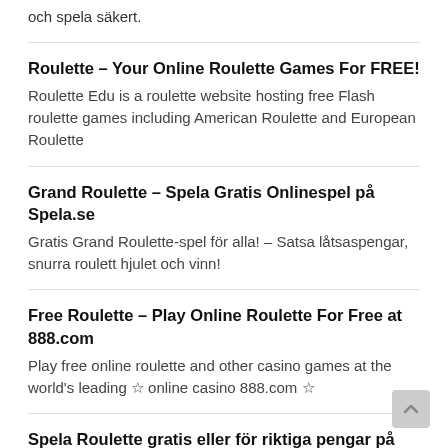och spela säkert.
Roulette – Your Online Roulette Games For FREE!
Roulette Edu is a roulette website hosting free Flash roulette games including American Roulette and European Roulette
Grand Roulette – Spela Gratis Onlinespel på Spela.se
Gratis Grand Roulette-spel för alla! – Satsa låtsaspengar, snurra roulett hjulet och vinn!
Free Roulette – Play Online Roulette For Free at 888.com
Play free online roulette and other casino games at the world's leading ☆ online casino 888.com ☆
Spela Roulette gratis eller för riktiga pengar på CasinoEuro